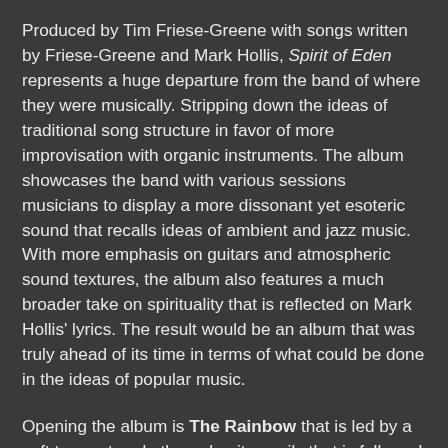Produced by Tim Friese-Greene with songs written by Friese-Greene and Mark Hollis, Spirit of Eden represents a huge departure from the band of where they were musically. Stripping down the ideas of traditional song structure in favor of more improvisation with organic instruments. The album showcases the band with various sessions musicians to display a more dissonant yet esoteric sound that recalls ideas of ambient and jazz music. With more emphasis on guitars and atmospheric sound textures, the album also features a much broader take on spirituality that is reflected on Mark Hollis' lyrics. The result would be an album that was truly ahead of its time in terms of what could be done in the ideas of popular music.
Opening the album is The Rainbow that is led by a soft trumpet and ethereal guitar wails that is followed by a soft piano. The track then changes to a more mid-tempo track with a blues-style guitar wash with a wailing harmonica, a melodic piano, and a hollow drum fill. Mark Hollis' crooning vocals take charge as he sings abstract lyrics filled with ideas of the world in despair as he is followed by an organ in some parts of the song. Eden follows through with siren-like